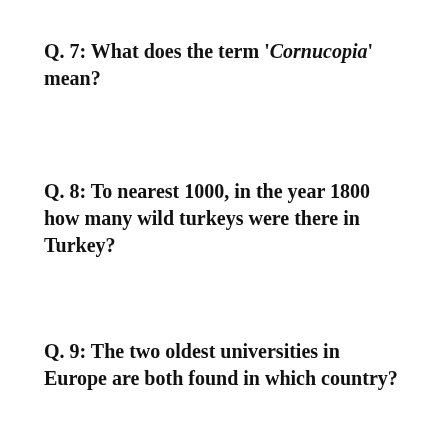Q.  7:  What does the term 'Cornucopia' mean?
Q.  8:  To nearest 1000, in the year 1800 how many wild turkeys were there in Turkey?
Q.  9:  The two oldest universities in Europe are both found in which country?